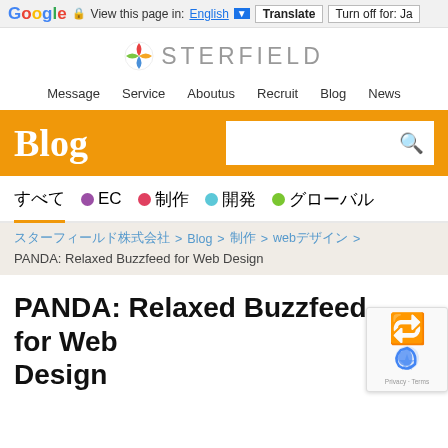Google  View this page in: English [▼]  Translate  Turn off for: Ja
[Figure (logo): Sterfield company logo with star icon and text STERFIELD]
Message   Service   Aboutus   Recruit   Blog   News
Blog
すべて  ● EC  ● 制作  ● 開発  ● グローバル
スターフィールド株式会社 > Blog > 制作 > webデザイン >
PANDA: Relaxed Buzzfeed for Web Design
PANDA: Relaxed Buzzfeed for Web Design